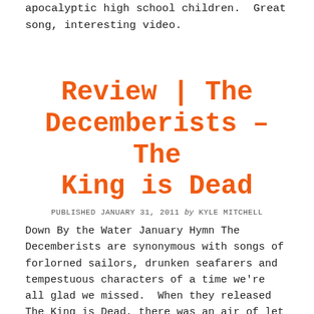apocalyptic high school children.  Great song, interesting video.
Review | The Decemberists – The King is Dead
PUBLISHED JANUARY 31, 2011 by KYLE MITCHELL
Down By the Water January Hymn The Decemberists are synonymous with songs of forlorned sailors, drunken seafarers and tempestuous characters of a time we're all glad we missed.  When they released The King is Dead, there was an air of let down with this album as if The Decemberists had turned a deaf ear to